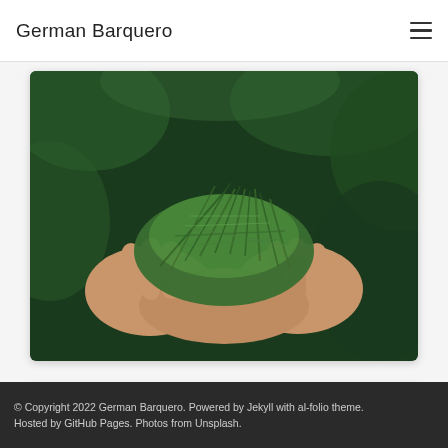German Barquero
[Figure (photo): Hands cupping pine or fir needles against a blurred green background]
[Figure (photo): Scenic mountain lake landscape at dusk with snowy peaks, reflections on water, and cloudy sky]
© Copyright 2022 German Barquero. Powered by Jekyll with al-folio theme. Hosted by GitHub Pages. Photos from Unsplash.